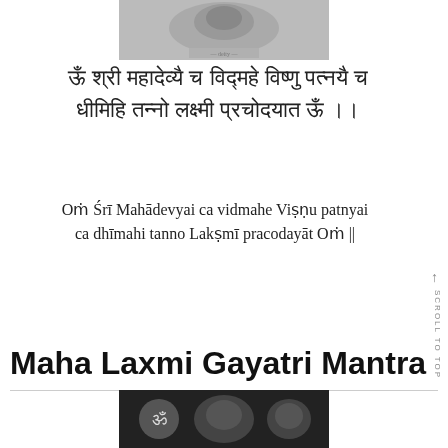[Figure (photo): Grayscale image of a deity figure, partially visible at the top of the page]
ऊँ श्री महादेव्यै च विद्महे विष्णु पत्नयै च धीमिहि तन्नो लक्ष्मी प्रचोदयात ऊँ ।।
Oṁ Śrī Mahādevyai ca vidmahe Viṣṇu patnyai ca dhīmahi tanno Lakṣmī pracodayāt Oṁ ||
Maha Laxmi Gayatri Mantra
[Figure (photo): Grayscale image at the bottom of the page showing religious figures with Om symbol]